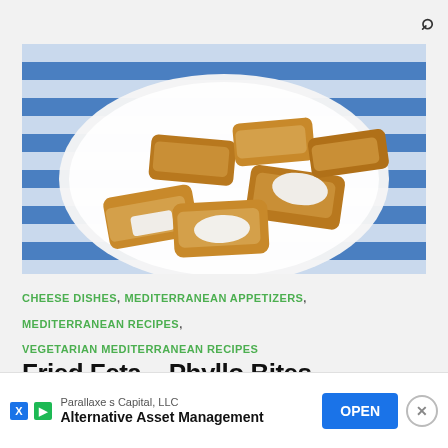[Figure (photo): Fried feta phyllo bites on a white plate on a blue and white striped cloth background. The bites are golden brown pastry parcels with visible white feta cheese filling.]
CHEESE DISHES, MEDITERRANEAN APPETIZERS, MEDITERRANEAN RECIPES, VEGETARIAN MEDITERRANEAN RECIPES
Fried Feta – Phyllo Bites
This i… when…
Parallaxe s Capital, LLC
Alternative Asset Management
OPEN